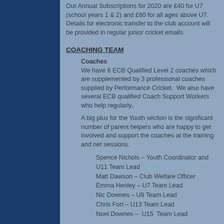Our Annual Subscriptions for 2020 are £40 for U7 (school years 1 & 2) and £60 for all ages above U7. Details for electronic transfer to the club account will be provided in regular junior cricket emails.
COACHING TEAM
Coaches
We have 6 ECB Qualified Level 2 coaches which are supplemented by 3 professional coaches supplied by Performance Cricket.  We also have several ECB qualified Coach Support Workers who help regularly..
A big plus for the Youth section is the significant number of parent helpers who are happy to get involved and support the coaches at the training and net sessions.
Spence Nichols – Youth Coordinator and U11 Team Lead
Matt Dawson – Club Welfare Officer
Emma Henley – U7 Team Lead
Nic Downes – U9 Team Lead
Chris Fort – U13 Team Lead
Noel Downes –  U15  Team Lead